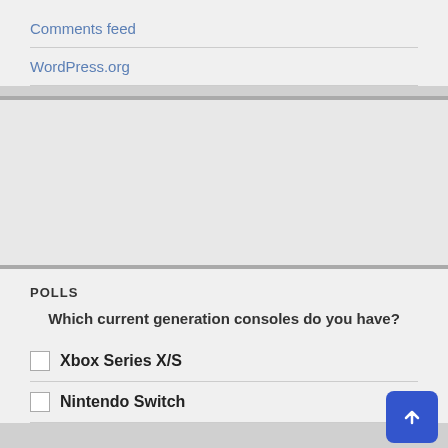Comments feed
WordPress.org
[Figure (other): Gray placeholder advertising block]
POLLS
Which current generation consoles do you have?
Xbox Series X/S
Nintendo Switch